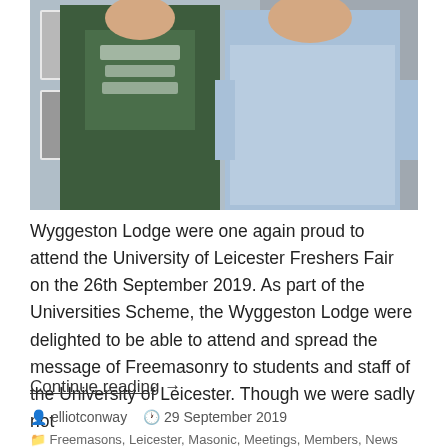[Figure (photo): Two men standing together indoors; left person wearing a dark green University of Leicester hoodie, right person wearing a light blue button-up shirt. Black and white portrait photos visible on the wall behind them.]
Wyggeston Lodge were one again proud to attend the University of Leicester Freshers Fair on the 26th September 2019. As part of the Universities Scheme, the Wyggeston Lodge were delighted to be able to attend and spread the message of Freemasonry to students and staff of the University of Leicester. Though we were sadly not
Continue reading →
elliotconway   29 September 2019
Freemasons, Leicester, Masonic, Meetings, Members, News